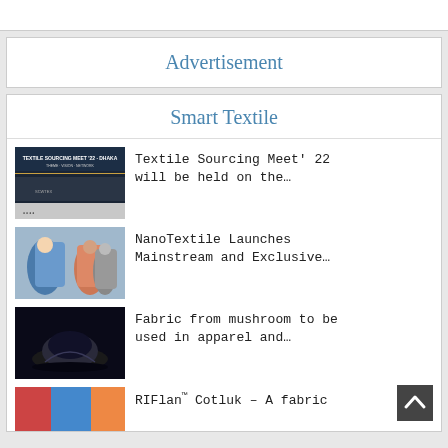Advertisement
Smart Textile
[Figure (photo): Textile Sourcing Meet 22 event banner with logos]
Textile Sourcing Meet' 22 will be held on the…
[Figure (photo): Three people in casual clothing standing and talking]
NanoTextile Launches Mainstream and Exclusive…
[Figure (photo): Dark image of a black object on water surface]
Fabric from mushroom to be used in apparel and…
[Figure (photo): Colorful fabric or textile partial image]
RIFlan™ Cotluk – A fabric